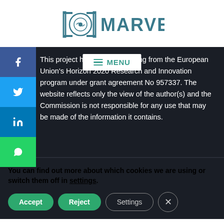[Figure (logo): MARVEL project logo with circular icon and stylized text]
This project has received funding from the European Union's Horizon 2020 Research and Innovation program under grant agreement No 957337. The website reflects only the view of the author(s) and the Commission is not responsible for any use that may be made of the information it contains.
You can find out more about which cookies we are using or switch them off in settings.